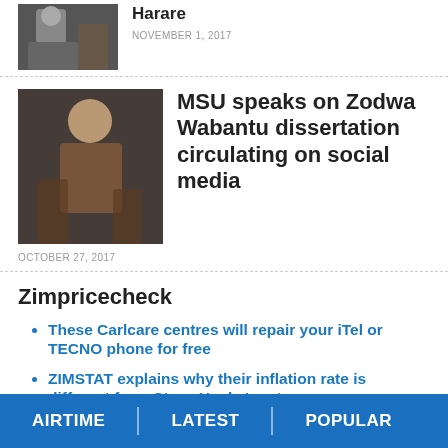[Figure (photo): Woman posing in casual outfit, partial view at top of page]
NOVEMBER 1, 2017
[Figure (photo): Woman in leopard print outfit posing]
MSU speaks on Zodwa Wabantu dissertation circulating on social media
OCTOBER 27, 2017
Zimpricecheck
These Carlcare centres will repair your iTel or TECNO phone for free
ZIMSTAT explains why their inflation rate is different from Steve Hanke's rate
Are gold coins better than USD as a safe haven?
AIRTIME   LATEST   POPULAR